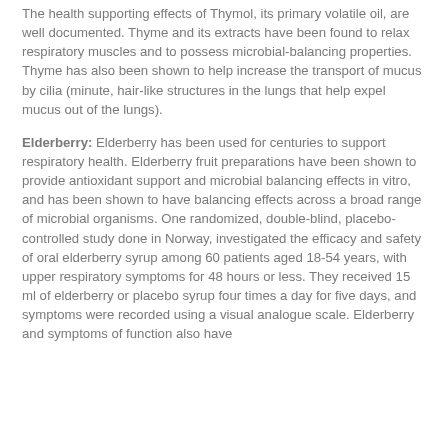The health supporting effects of Thymol, its primary volatile oil, are well documented. Thyme and its extracts have been found to relax respiratory muscles and to possess microbial-balancing properties. Thyme has also been shown to help increase the transport of mucus by cilia (minute, hair-like structures in the lungs that help expel mucus out of the lungs).
Elderberry: Elderberry has been used for centuries to support respiratory health. Elderberry fruit preparations have been shown to provide antioxidant support and microbial balancing effects in vitro, and has been shown to have balancing effects across a broad range of microbial organisms. One randomized, double-blind, placebo-controlled study done in Norway, investigated the efficacy and safety of oral elderberry syrup among 60 patients aged 18-54 years, with upper respiratory symptoms for 48 hours or less. They received 15 ml of elderberry or placebo syrup four times a day for five days, and symptoms were recorded using a visual analogue scale. Elderberry and symptoms of function also have...